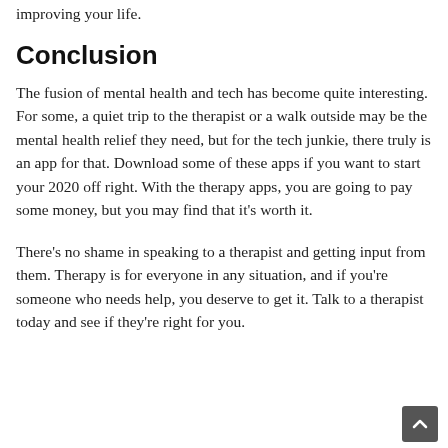improving your life.
Conclusion
The fusion of mental health and tech has become quite interesting. For some, a quiet trip to the therapist or a walk outside may be the mental health relief they need, but for the tech junkie, there truly is an app for that. Download some of these apps if you want to start your 2020 off right. With the therapy apps, you are going to pay some money, but you may find that it's worth it.
There's no shame in speaking to a therapist and getting input from them. Therapy is for everyone in any situation, and if you're someone who needs help, you deserve to get it. Talk to a therapist today and see if they're right for you.